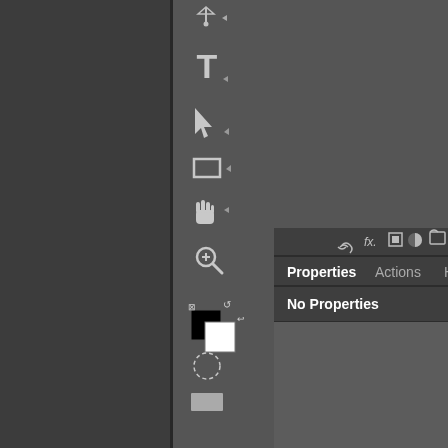[Figure (screenshot): Adobe Photoshop interface screenshot showing the left toolbar with pen, type, selection, rectangle, hand, zoom, color picker tools, and a Properties/Actions/History panel showing 'No Properties'. A ruler is visible on the left side with numbers. The right side shows a grayscale photo. The bottom shows the Mac OS X menu bar with Photoshop, File, Edit, Image, Layer, Type menu items.]